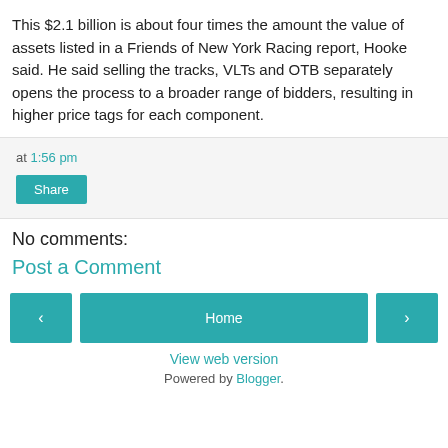This $2.1 billion is about four times the amount the value of assets listed in a Friends of New York Racing report, Hooke said. He said selling the tracks, VLTs and OTB separately opens the process to a broader range of bidders, resulting in higher price tags for each component.
at 1:56 pm
Share
No comments:
Post a Comment
‹
Home
›
View web version
Powered by Blogger.